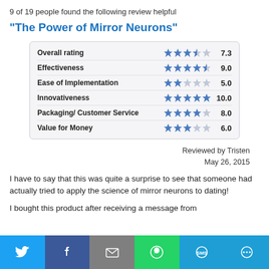9 of 19 people found the following review helpful
"The Power of Mirror Neurons"
| Category | Stars | Score |
| --- | --- | --- |
| Overall rating | ★★★★☆ | 7.3 |
| Effectiveness | ★★★★½ | 9.0 |
| Ease of Implementation | ★★☆☆☆ | 5.0 |
| Innovativeness | ★★★★★ | 10.0 |
| Packaging/ Customer Service | ★★★★☆ | 8.0 |
| Value for Money | ★★☆☆☆ | 6.0 |
Reviewed by Tristen
May 26, 2015
I have to say that this was quite a surprise to see that someone had actually tried to apply the science of mirror neurons to dating!
I bought this product after receiving a message from